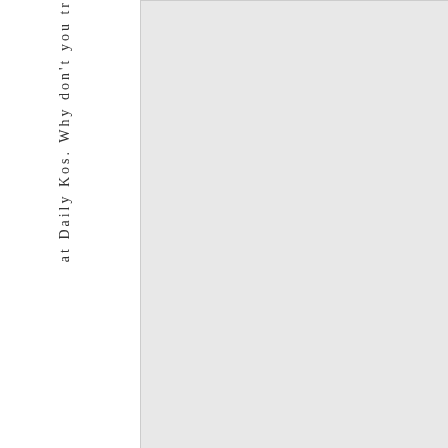at Daily Kos. Why don't you tr